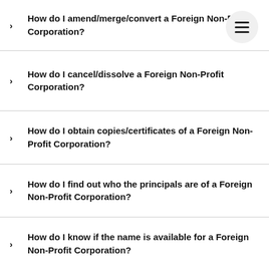How do I amend/merge/convert a Foreign Non-Profit Corporation?
How do I cancel/dissolve a Foreign Non-Profit Corporation?
How do I obtain copies/certificates of a Foreign Non-Profit Corporation?
How do I find out who the principals are of a Foreign Non-Profit Corporation?
How do I know if the name is available for a Foreign Non-Profit Corporation?